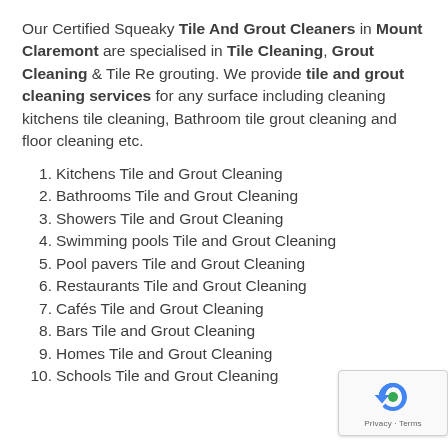Our Certified Squeaky Tile And Grout Cleaners in Mount Claremont are specialised in Tile Cleaning, Grout Cleaning & Tile Re grouting. We provide tile and grout cleaning services for any surface including cleaning kitchens tile cleaning, Bathroom tile grout cleaning and floor cleaning etc.
1. Kitchens Tile and Grout Cleaning
2. Bathrooms Tile and Grout Cleaning
3. Showers Tile and Grout Cleaning
4. Swimming pools Tile and Grout Cleaning
5. Pool pavers Tile and Grout Cleaning
6. Restaurants Tile and Grout Cleaning
7. Cafés Tile and Grout Cleaning
8. Bars Tile and Grout Cleaning
9. Homes Tile and Grout Cleaning
10. Schools Tile and Grout Cleaning